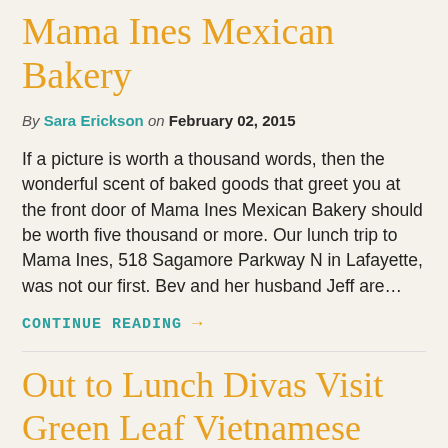Mama Ines Mexican Bakery
By Sara Erickson on February 02, 2015
If a picture is worth a thousand words, then the wonderful scent of baked goods that greet you at the front door of Mama Ines Mexican Bakery should be worth five thousand or more. Our lunch trip to Mama Ines, 518 Sagamore Parkway N in Lafayette, was not our first. Bev and her husband Jeff are…
CONTINUE READING →
Out to Lunch Divas Visit Green Leaf Vietnamese Cuisine!